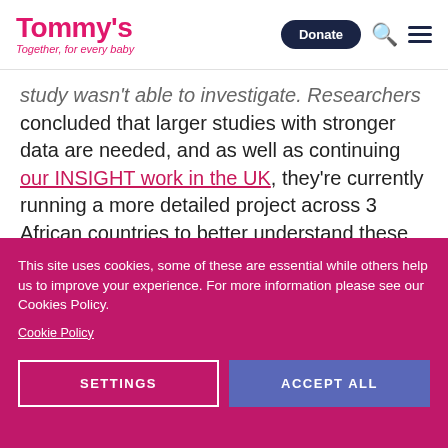Tommy's — Together, for every baby | Donate
study wasn't able to investigate. Researchers concluded that larger studies with stronger data are needed, and as well as continuing our INSIGHT work in the UK, they're currently running a more detailed project across 3 African countries to better understand these issues.
This site uses cookies, some of these are essential while others help us to improve your experience. For more information please see our Cookies Policy.
Cookie Policy
SETTINGS
ACCEPT ALL